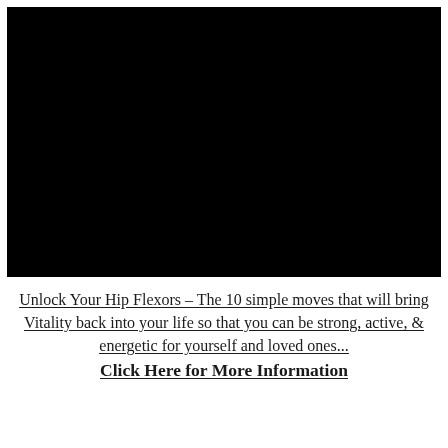[Figure (photo): Black rectangle placeholder image (dark/black video or image block)]
Unlock Your Hip Flexors – The 10 simple moves that will bring Vitality back into your life so that you can be strong, active, & energetic for yourself and loved ones… Click Here for More Information